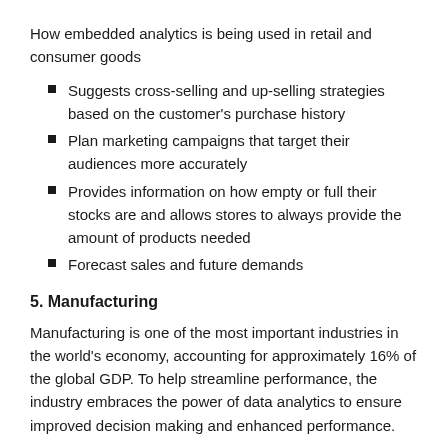How embedded analytics is being used in retail and consumer goods
Suggests cross-selling and up-selling strategies based on the customer's purchase history
Plan marketing campaigns that target their audiences more accurately
Provides information on how empty or full their stocks are and allows stores to always provide the amount of products needed
Forecast sales and future demands
5. Manufacturing
Manufacturing is one of the most important industries in the world's economy, accounting for approximately 16% of the global GDP. To help streamline performance, the industry embraces the power of data analytics to ensure improved decision making and enhanced performance.
Manufacturing analytics is the process of using data and data technologies to optimize supply chain and processes, increase